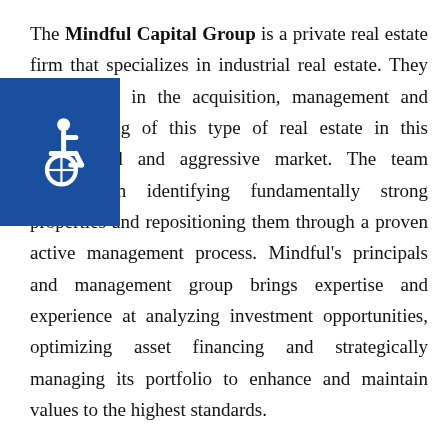The Mindful Capital Group is a private real estate firm that specializes in industrial real estate. They are experts in the acquisition, management and repositioning of this type of real estate in this complicated and aggressive market. The team focuses on identifying fundamentally strong properties and repositioning them through a proven active management process. Mindful's principals and management group brings expertise and experience at analyzing investment opportunities, optimizing asset financing and strategically managing its portfolio to enhance and maintain values to the highest standards.

If you need the help of some of the most skilled real estate agents in Florida, then contact the Mindful Capital Group today! Below, you'll see some of the projects that the
[Figure (illustration): Accessibility icon (wheelchair symbol) on a blue background, overlapping the text block on the left side.]